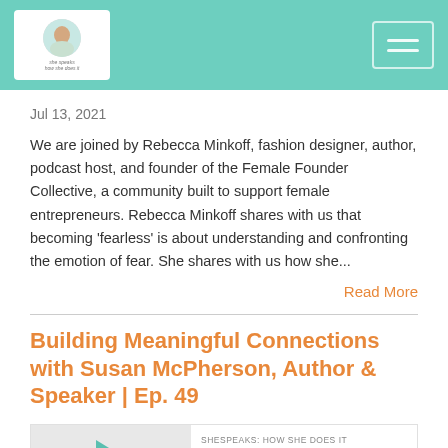She Speaks: How She Does It - podcast logo and navigation
Jul 13, 2021
We are joined by Rebecca Minkoff, fashion designer, author, podcast host, and founder of the Female Founder Collective, a community built to support female entrepreneurs. Rebecca Minkoff shares with us that becoming ‘fearless’ is about understanding and confronting the emotion of fear. She shares with us how she...
Read More
Building Meaningful Connections with Susan McPherson, Author & Speaker | Ep. 49
[Figure (other): Podcast player card showing SHESPEAKS: HOW SHE DOES IT with play button and episode title 'Building Meaningful Connections with Susan...']